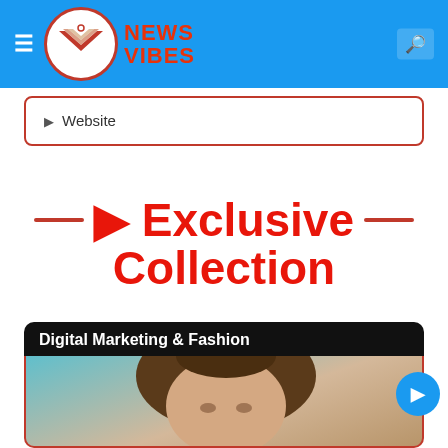NEWS VIBES — Navigation bar with logo
Website
🔥 Exclusive Collection
Digital Marketing & Fashion
[Figure (photo): Woman with brown hair resting or relaxing, teal/white background]